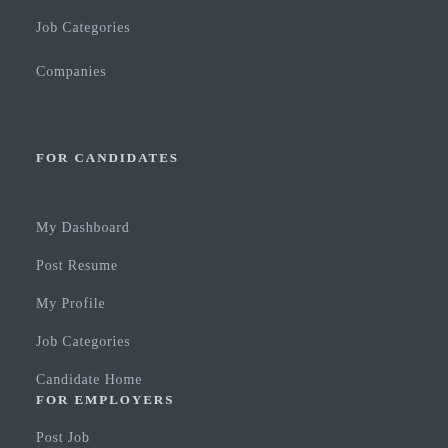Job Categories
Companies
FOR CANDIDATES
My Dashboard
Post Resume
My Profile
Job Categories
Candidate Home
FOR EMPLOYERS
Post Job